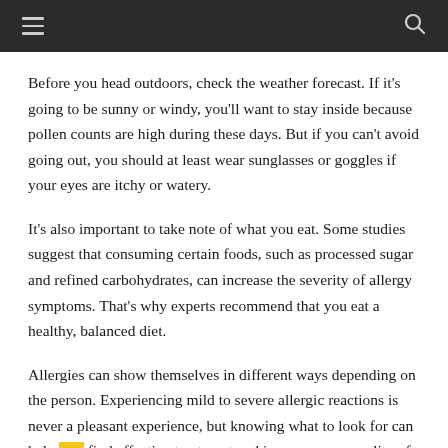Navigation bar with hamburger menu and search icon
Before you head outdoors, check the weather forecast. If it’s going to be sunny or windy, you’ll want to stay inside because pollen counts are high during these days. But if you can’t avoid going out, you should at least wear sunglasses or goggles if your eyes are itchy or watery.
It’s also important to take note of what you eat. Some studies suggest that consuming certain foods, such as processed sugar and refined carbohydrates, can increase the severity of allergy symptoms. That’s why experts recommend that you eat a healthy, balanced diet.
Allergies can show themselves in different ways depending on the person. Experiencing mild to severe allergic reactions is never a pleasant experience, but knowing what to look for can help you find effective treatment and improve your quality of life.